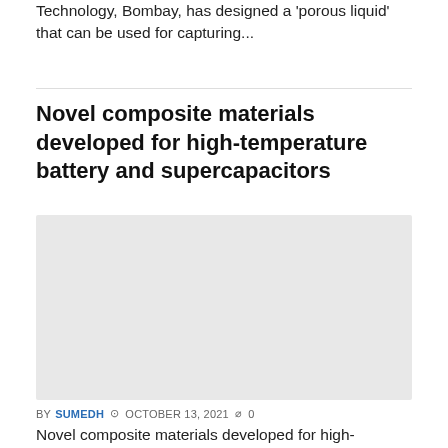Technology, Bombay, has designed a 'porous liquid' that can be used for capturing...
Novel composite materials developed for high-temperature battery and supercapacitors
[Figure (photo): Placeholder image for composite materials article]
BY SUMEDH  © OCTOBER 13, 2021  ○0
Novel composite materials developed for high-temperature battery and supercapacitors  Researchers have developed a